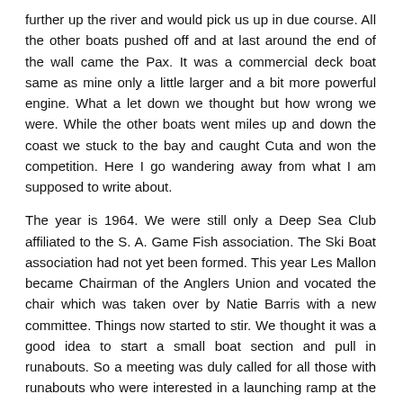further up the river and would pick us up in due course. All the other boats pushed off and at last around the end of the wall came the Pax. It was a commercial deck boat same as mine only a little larger and a bit more powerful engine. What a let down we thought but how wrong we were. While the other boats went miles up and down the coast we stuck to the bay and caught Cuta and won the competition. Here I go wandering away from what I am supposed to write about.
The year is 1964. We were still only a Deep Sea Club affiliated to the S. A. Game Fish association. The Ski Boat association had not yet been formed. This year Les Mallon became Chairman of the Anglers Union and vocated the chair which was taken over by Natie Barris with a new committee. Things now started to stir. We thought it was a good idea to start a small boat section and pull in runabouts. So a meeting was duly called for all those with runabouts who were interested in a launching ramp at the Red Windmill to attend. Again we had a full house, recruiting many members and then formed a ramp committee and got cracking with the council. 1965 now and I took over the chair from Natie Barris. We now had 145 members and 45 boats, mostly runabouts. We got the